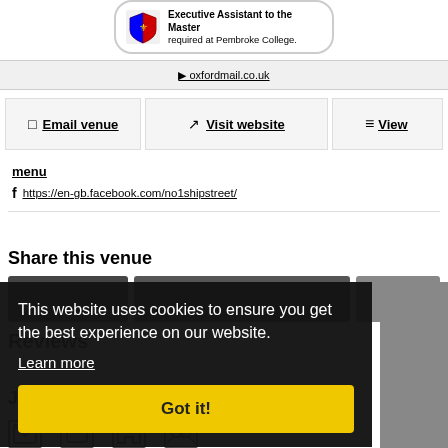[Figure (logo): Pembroke College shield/coat of arms logo with text: Executive Assistant to the Master required at Pembroke College.]
Email venue   Visit website   View
menu
https://en-gb.facebook.com/no1shipstreet/
Share this venue
Reviews
This website uses cookies to ensure you get the best experience on our website.
Learn more
Got it!
Jen Pawsey